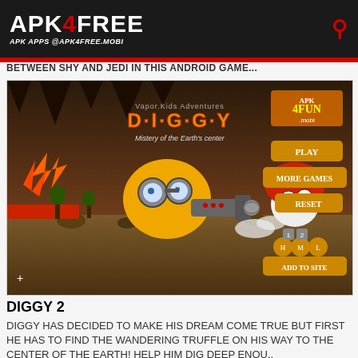APK4FREE — APK APPS @APK4FREE.MOBI
BETWEEN SHY AND JEDI IN THIS ANDROID GAME...
[Figure (screenshot): Screenshot of Diggy 2 Android game showing game title screen with a cartoon character holding a drill gun, a mushroom character, menu buttons (PLAY, MORE GAMES, RESET, ADD TO SITE), and APK4FUN.mobi watermark]
DIGGY 2
DIGGY HAS DECIDED TO MAKE HIS DREAM COME TRUE BUT FIRST HE HAS TO FIND THE WANDERING TRUFFLE ON HIS WAY TO THE CENTER OF THE EARTH! HELP HIM DIG DEEP ENOU..